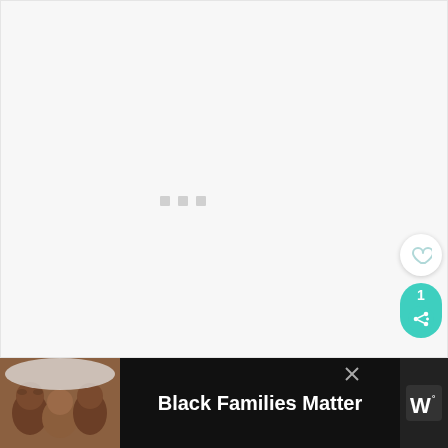[Figure (screenshot): Loading state of a web page — light gray background with three small gray square dots (loading indicator) centered in the upper half]
[Figure (infographic): Heart (like) button: white circular button with heart outline icon]
[Figure (infographic): Share pill button: teal rounded rectangle showing count '1' and share icon with plus]
[Figure (infographic): What's Next banner: white card with thumbnail of white chocolate candies, label 'WHAT'S NEXT →' and title '30 Best White Chocolate...']
[Figure (infographic): Advertisement bar at bottom: black bar with family photo on left, bold white text 'Black Families Matter', close X button, and app logo on right]